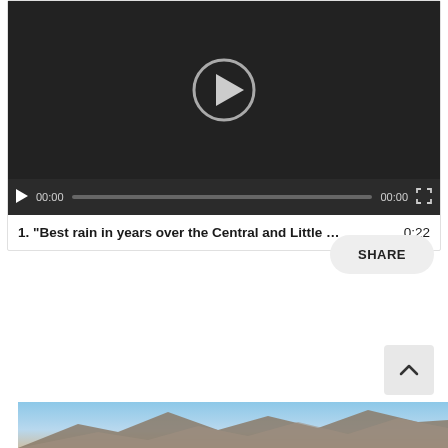[Figure (screenshot): Video player showing a dark screen with a circular play button overlay. Controls bar at bottom shows play button, time 00:00, progress bar, end time 00:00, and fullscreen button.]
1. “Best rain in years over the Central and Little …   0:22
SHARE
[Figure (photo): Partial view of a landscape photo showing mountains or rock formations under a blue sky at the bottom of the page.]